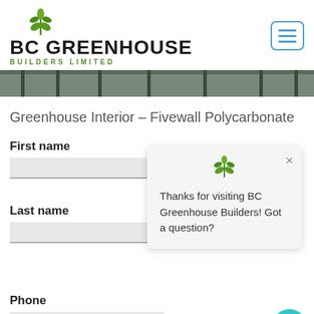[Figure (logo): BC Greenhouse Builders Limited logo with green leaf/wheat icon above company name]
[Figure (screenshot): Hamburger menu button with three horizontal blue lines in a rounded square border]
[Figure (photo): Partial greenhouse interior image strip showing dark structural elements]
Greenhouse Interior – Fivewall Polycarbonate
First name
Last name
[Figure (infographic): Popup chat widget with BC Greenhouse logo icon and message: Thanks for visiting BC Greenhouse Builders! Got a question? with close X button]
Phone